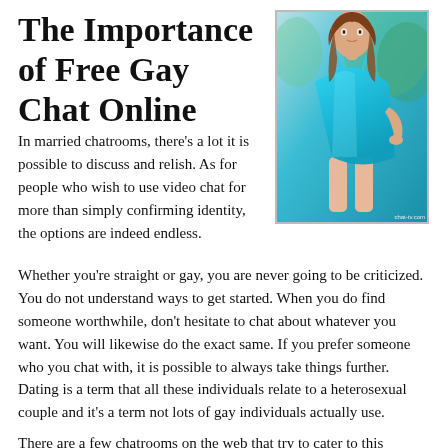The Importance of Free Gay Chat Online
[Figure (photo): Young woman in a blue/teal spaghetti-strap dress posing outdoors, with a watermark reading 'chat-tv.com']
In married chatrooms, there’s a lot it is possible to discuss and relish. As for people who wish to use video chat for more than simply confirming identity, the options are indeed endless.
Whether you’re straight or gay, you are never going to be criticized. You do not understand ways to get started. When you do find someone worthwhile, don’t hesitate to chat about whatever you want. You will likewise do the exact same. If you prefer someone who you chat with, it is possible to always take things further. Dating is a term that all these individuals relate to a heterosexual couple and it’s a term not lots of gay individuals actually use.
There are a few chatrooms on the web that try to cater to this